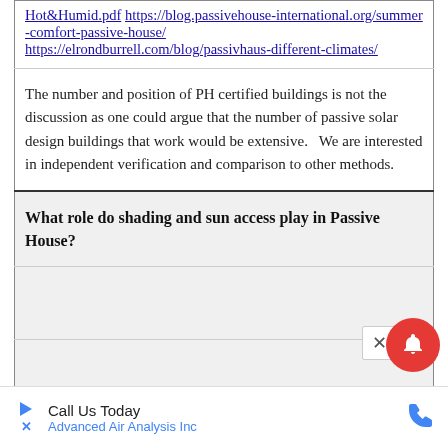Hot&Humid.pdf https://blog.passivehouse-international.org/summer-comfort-passive-house/ https://elrondburrell.com/blog/passivhaus-different-climates/
The number and position of PH certified buildings is not the discussion as one could argue that the number of passive solar design buildings that work would be extensive.   We are interested in independent verification and comparison to other methods.
What role do shading and sun access play in Passive House?
“The most stark difference between traditional Australian